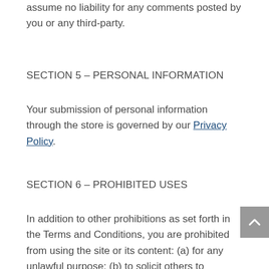assume no liability for any comments posted by you or any third-party.
SECTION 5 – PERSONAL INFORMATION
Your submission of personal information through the store is governed by our Privacy Policy.
SECTION 6 – PROHIBITED USES
In addition to other prohibitions as set forth in the Terms and Conditions, you are prohibited from using the site or its content: (a) for any unlawful purpose; (b) to solicit others to